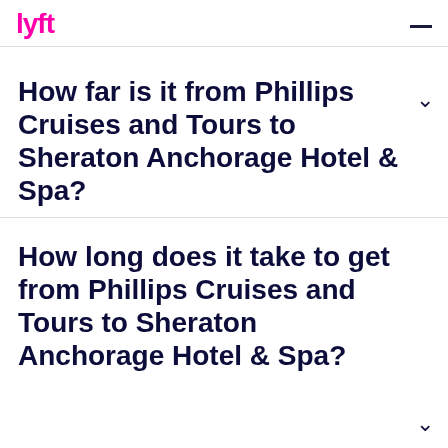lyft
How far is it from Phillips Cruises and Tours to Sheraton Anchorage Hotel & Spa?
How long does it take to get from Phillips Cruises and Tours to Sheraton Anchorage Hotel & Spa?